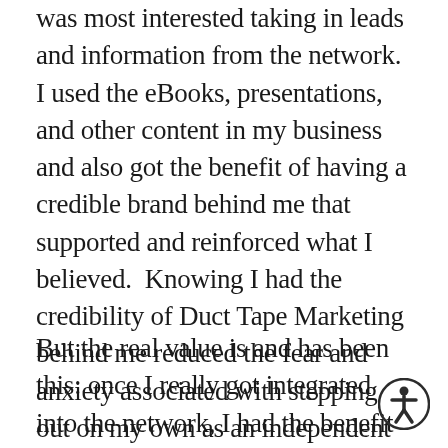was most interested taking in leads and information from the network.  I used the eBooks, presentations, and other content in my business and also got the benefit of having a credible brand behind me that supported and reinforced what I believed.  Knowing I had the credibility of Duct Tape Marketing behind me reduced the fear and anxiety associated with stepping out on my own as an independent marketing consultant.
But the real value is and has been this: once I really got integrated into the network, I had the benefit of not only